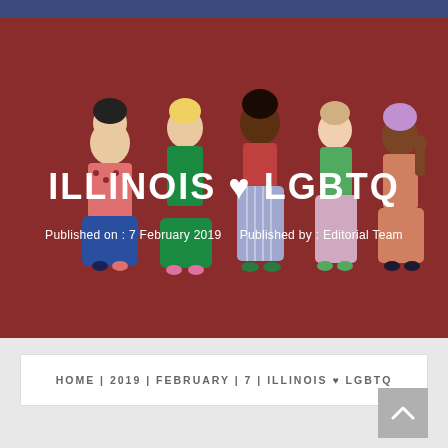[Figure (illustration): Illustration of five diverse women standing together on a dark red background, with the title ILLINOIS ♥ LGBTQ overlaid in bold white uppercase text, and publication metadata below]
Published on : 7 February 2019    Published by : Editorial Team
HOME | 2019 | FEBRUARY | 7 | ILLINOIS ♥ LGBTQ